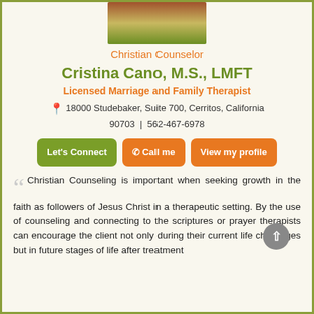[Figure (photo): Partial photo of Cristina Cano at the top of the page, cropped.]
Christian Counselor
Cristina Cano, M.S., LMFT
Licensed Marriage and Family Therapist
18000 Studebaker, Suite 700, Cerritos, California 90703 | 562-467-6978
Let's Connect  Call me  View my profile
Christian Counseling is important when seeking growth in the faith as followers of Jesus Christ in a therapeutic setting. By the use of counseling and connecting to the scriptures or prayer therapists can encourage the client not only during their current life challenges but in future stages of life after treatment